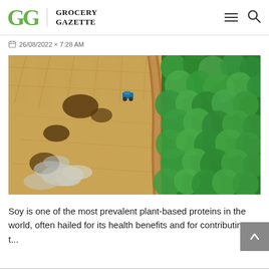Grocery Gazette
26/08/2022 × 7:28 AM
[Figure (photo): Aerial drone view of deforestation - left half shows cleared/burned farmland with a tractor and smoke rising, right half shows dense green tropical forest, with a dirt road separating the two halves.]
Soy is one of the most prevalent plant-based proteins in the world, often hailed for its health benefits and for contributing to t...